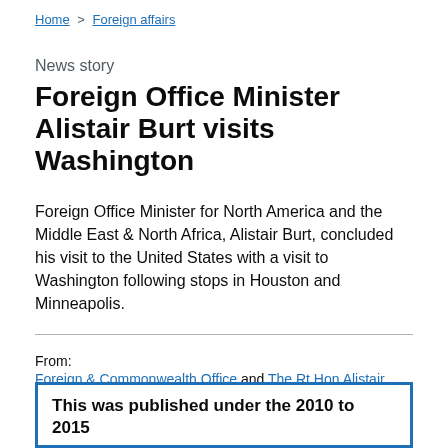Home > Foreign affairs
News story
Foreign Office Minister Alistair Burt visits Washington
Foreign Office Minister for North America and the Middle East & North Africa, Alistair Burt, concluded his visit to the United States with a visit to Washington following stops in Houston and Minneapolis.
From:
Foreign & Commonwealth Office and The Rt Hon Alistair Burt
Published
3 February 2012
This was published under the 2010 to 2015